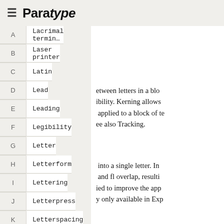≡ Paratype
|  | Term |
| --- | --- |
| A | Lacrimal termin… |
| B | Laser printer |
| C | Latin |
| D | Lead |
| E | Leading |
| F | Legibility |
| G | Letter |
| H | Letterform |
| I | Lettering |
| J | Letterpress |
| K | Letterspacing |
| L | Ligature |
etween letters in a block ... ibility. Kerning allows a ... applied to a block of te... ee also Tracking.
into a single letter. In... and fl overlap, resulti... ied to improve the app... y only available in Exp...